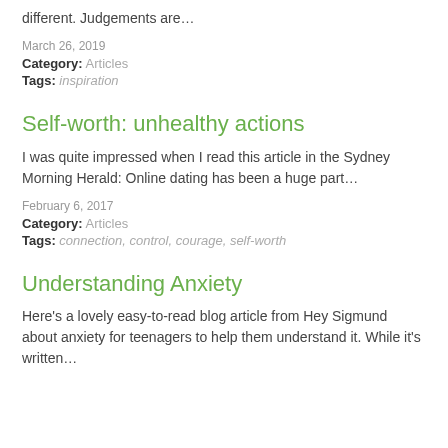different. Judgements are…
March 26, 2019
Category: Articles
Tags: inspiration
Self-worth: unhealthy actions
I was quite impressed when I read this article in the Sydney Morning Herald: Online dating has been a huge part…
February 6, 2017
Category: Articles
Tags: connection, control, courage, self-worth
Understanding Anxiety
Here's a lovely easy-to-read blog article from Hey Sigmund about anxiety for teenagers to help them understand it. While it's written…